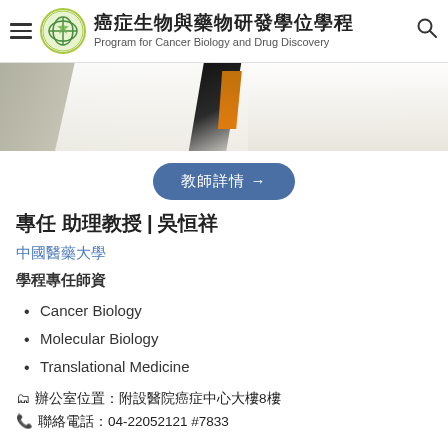癌症生物與藥物研發學位學程 Program for Cancer Biology and Drug Discovery
[Figure (photo): Hero banner showing a person in a white lab coat with a dark diagonal stripe and orange element, in a laboratory setting]
教師詳情 →
專任 助理教授 | 吳恒祥
中國醫藥大學
學程專任師資
Cancer Biology
Molecular Biology
Translational Medicine
📋 辦公室位置：附設醫院癌症中心大樓8樓
📞 聯絡電話：04-22052121 #7833